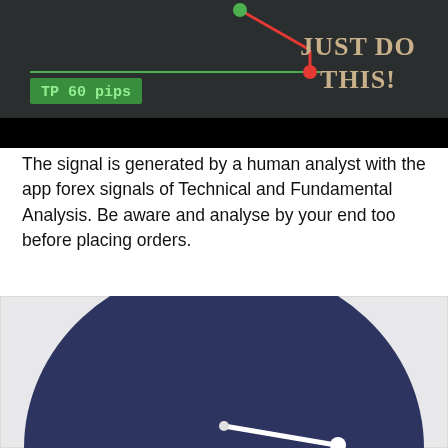[Figure (screenshot): Dark chalkboard background image showing a trading chart with red arrow, green dot, red dot, a horizontal green line, text 'TP 60 pips' in a green box on the left, and bold text 'JUST DO THIS!' in large serif font on the right. Black strip at the bottom.]
The signal is generated by a human analyst with the app forex signals of Technical and Fundamental Analysis. Be aware and analyse by your end too before placing orders.
[Figure (screenshot): Dark navy blue semicircle/gauge meter on a light background, with a white needle/arrow pointing to the lower right, suggesting a speedometer or signal strength indicator.]